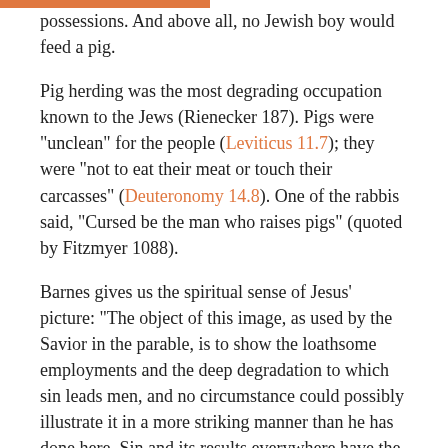possessions. And above all, no Jewish boy would feed a pig.
Pig herding was the most degrading occupation known to the Jews (Rienecker 187). Pigs were "unclean" for the people (Leviticus 11.7); they were "not to eat their meat or touch their carcasses" (Deuteronomy 14.8). One of the rabbis said, "Cursed be the man who raises pigs" (quoted by Fitzmyer 1088).
Barnes gives us the spiritual sense of Jesus' picture: "The object of this image, as used by the Savior in the parable, is to show the loathsome employments and the deep degradation to which sin leads men, and no circumstance could possibly illustrate it in a more striking manner than he has done here. Sin and its results everywhere have the same relation to that which is noble and great, which the feeding of swine had, in the estimation of a Jew, to an honorable and dignified employment (103).